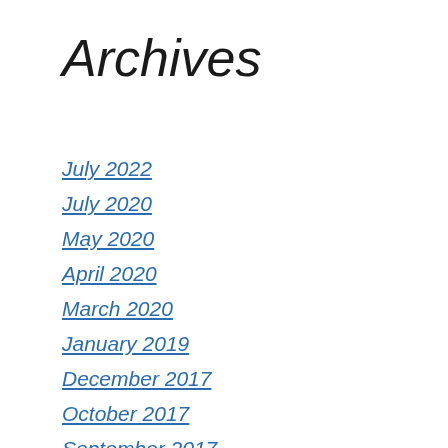Archives
July 2022
July 2020
May 2020
April 2020
March 2020
January 2019
December 2017
October 2017
September 2017
August 2017
July 2017